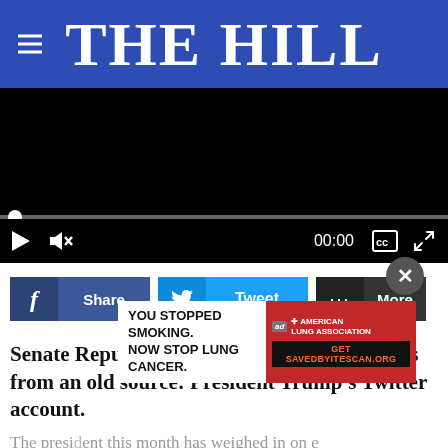THE HILL
[Figure (screenshot): Embedded video player with black background, scrubber bar, play button, mute icon, time display 00:00, captions and fullscreen icons]
f  Share    Tweet    ...  More
Senate Republicans are facing new headaches from an old source: President Trump's Twitter account.
The president this month has weighed in on the handling of Republican senators by name and, most recently, amplified a
[Figure (screenshot): Advertisement overlay: 'YOU STOPPED SMOKING. NOW STOP LUNG CANCER.' with American Lung Association branding and CTA: Get SAVEDBYITESCAN.ORG on red background]